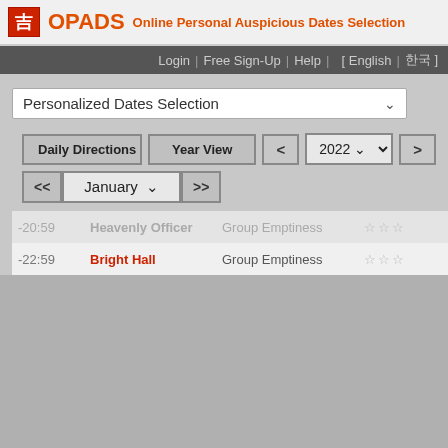吉 OPADS Online Personal Auspicious Dates Selection
Login | Free Sign-Up | Help | [ English | 한국어 ]
Personalized Dates Selection
Daily Directions | Year View | < 2022 > | << January >>
| Time | Name | Type | Rating |
| --- | --- | --- | --- |
| -20:59 | Heavenly Officer | Group Emptiness | ☆☆☆ |
| -22:59 | Bright Hall | Group Emptiness | ☆☆☆ |